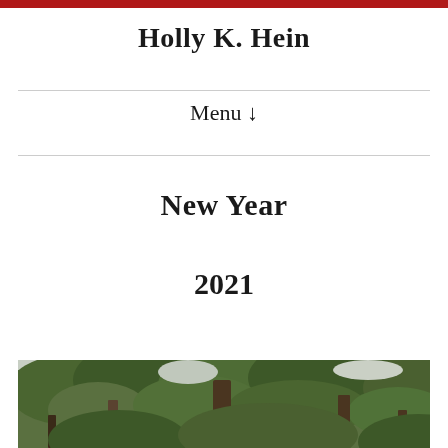Holly K. Hein
Menu ↓
New Year
2021
[Figure (photo): Outdoor forest/woodland scene with tall trees and dense green foliage against a light sky, viewed from below.]